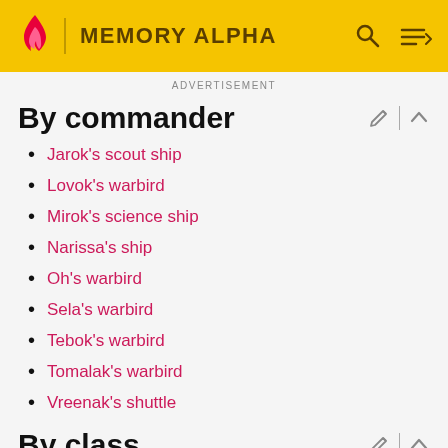MEMORY ALPHA
ADVERTISEMENT
By commander
Jarok's scout ship
Lovok's warbird
Mirok's science ship
Narissa's ship
Oh's warbird
Sela's warbird
Tebok's warbird
Tomalak's warbird
Vreenak's shuttle
By class